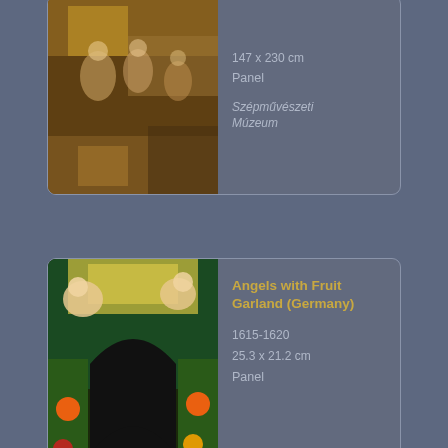[Figure (photo): Partial view of top artwork card: religious scene painting (cropped at top), showing figures in a landscape setting. Dimensions listed as 147 x 230 cm, medium: Panel, museum: Szépművészeti Múzeum]
147 x 230 cm
Panel
Szépművészeti Múzeum
[Figure (photo): Angels with Fruit Garland (Germany) painting thumbnail: cherubs/angels around a dark arched opening surrounded by a wreath of colorful fruits and foliage]
Angels with Fruit Garland (Germany)
1615-1620
25.3 x 21.2 cm
Panel
[Figure (photo): Baptism of Christ (Cologne) painting thumbnail: figures in a forest setting with light and angels, partial view]
Baptism of Christ (Cologne)
ca. 1608
33 x 48.5 cm